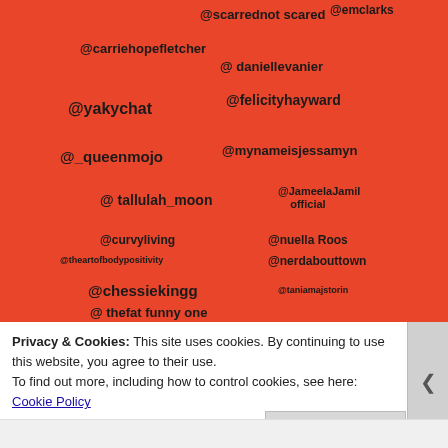[Figure (photo): Photo of a red/orange card or poster with handwritten social media handles in black marker: @carriehopefletcher, @scarrednotscared, @emclarks, @daniellevanier, @yakychat, @felicityhayward, @_queenmojo, @mynameisjessamyn, @tallulah_moon, @JameelaJamil official, @curvyliving, @nuellaRoss, @theartofbodypositivity, @nerdabouttown, @chessiekingg, @taniamajstorin, @thefatfunnyone, @hannah witton, @crazycurry-yoga, and more partially visible]
Privacy & Cookies: This site uses cookies. By continuing to use this website, you agree to their use.
To find out more, including how to control cookies, see here: Cookie Policy